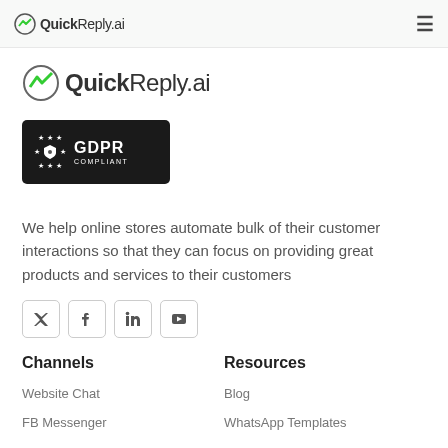QuickReply.ai
[Figure (logo): QuickReply.ai logo - large version with green lightning bolt icon]
[Figure (logo): GDPR Compliant badge - black background with EU stars and shield icon]
We help online stores automate bulk of their customer interactions so that they can focus on providing great products and services to their customers
[Figure (infographic): Social media icons row: Twitter, Facebook, LinkedIn, YouTube]
Channels
Resources
Website Chat
Blog
FB Messenger
WhatsApp Templates